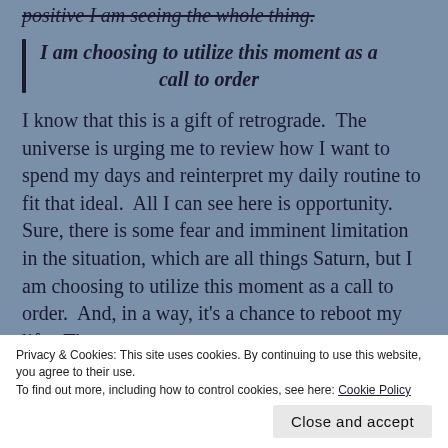positive I am seeing the whole thing.
I am choosing to utilize this moment as a call to order
I know that this is a gift of retrograde.  The universe is urging me to review how I want to spend my days and reinterpret my daily routine to fit that ideal.  All I can see here is opportunity.  Sure, there is some fear and imminent limitation in the situation, which are all things Saturn, but I am choosing to utilize this moment as a call to order.  And, in a way, it's a chance to reboot my life.  That
Privacy & Cookies: This site uses cookies. By continuing to use this website, you agree to their use.
To find out more, including how to control cookies, see here: Cookie Policy
Close and accept